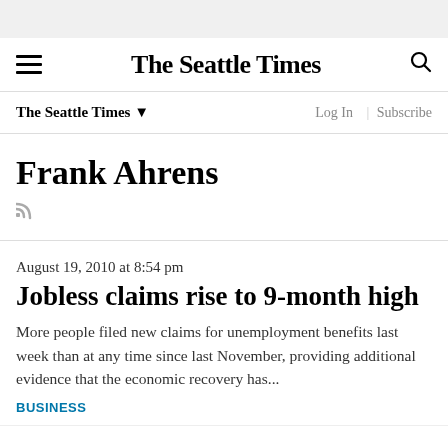The Seattle Times
The Seattle Times ▼  Log In | Subscribe
Frank Ahrens
August 19, 2010 at 8:54 pm
Jobless claims rise to 9-month high
More people filed new claims for unemployment benefits last week than at any time since last November, providing additional evidence that the economic recovery has...
BUSINESS